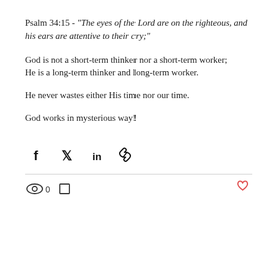Psalm 34:15 - "The eyes of the Lord are on the righteous, and his ears are attentive to their cry;"
God is not a short-term thinker nor a short-term worker;
He is a long-term thinker and long-term worker.
He never wastes either His time nor our time.
God works in mysterious way!
[Figure (infographic): Social sharing icons: Facebook, Twitter, LinkedIn, and a link/chain icon]
[Figure (infographic): Bottom bar with eye icon and 0 view count, comment/bookmark icon, and a red heart/like icon on the right]